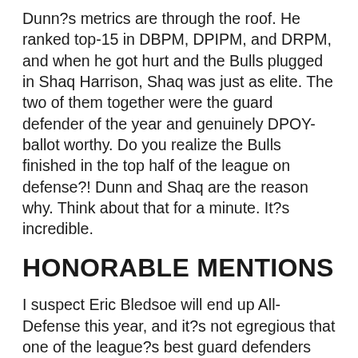Dunn?s metrics are through the roof. He ranked top-15 in DBPM, DPIPM, and DRPM, and when he got hurt and the Bulls plugged in Shaq Harrison, Shaq was just as elite. The two of them together were the guard defender of the year and genuinely DPOY-ballot worthy. Do you realize the Bulls finished in the top half of the league on defense?! Dunn and Shaq are the reason why. Think about that for a minute. It?s incredible.
HONORABLE MENTIONS
I suspect Eric Bledsoe will end up All-Defense this year, and it?s not egregious that one of the league?s best guard defenders gets a second All-D berth, but I don?t think he deserves it this